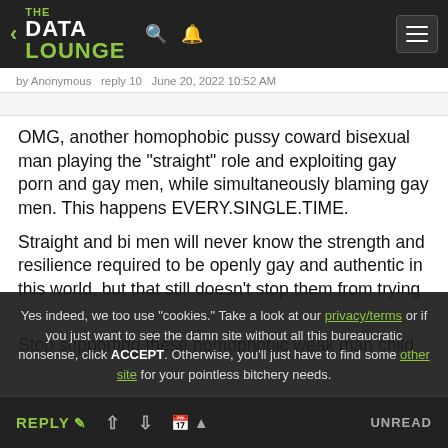THE DATA LOUNGE
by Anonymous  reply 10  June 20, 2022 10:52 AM
OMG, another homophobic pussy coward bisexual man playing the "straight" role and exploiting gay porn and gay men, while simultaneously blaming gay men. This happens EVERY.SINGLE.TIME.

Straight and bi men will never know the strength and resilience required to be openly gay and authentic in this world, but that still doesn't stop them from trying them.

Stop supporting these homophobic weak man child
Yes indeed, we too use "cookies." Take a look at our privacy/terms or if you just want to see the damn site without all this bureaucratic nonsense, click ACCEPT. Otherwise, you'll just have to find some other site for your pointless bitchery needs.
REPLY  ▲  ▼  UNREAD